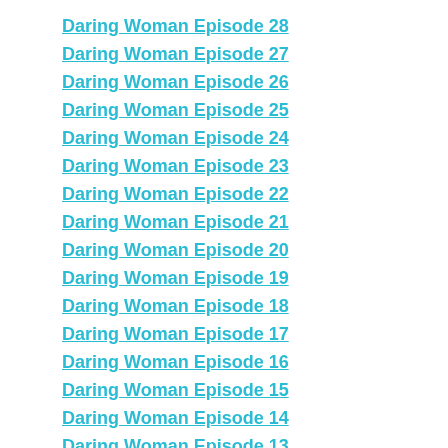Daring Woman Episode 28
Daring Woman Episode 27
Daring Woman Episode 26
Daring Woman Episode 25
Daring Woman Episode 24
Daring Woman Episode 23
Daring Woman Episode 22
Daring Woman Episode 21
Daring Woman Episode 20
Daring Woman Episode 19
Daring Woman Episode 18
Daring Woman Episode 17
Daring Woman Episode 16
Daring Woman Episode 15
Daring Woman Episode 14
Daring Woman Episode 13
Daring Woman Episode 12
Daring Woman Episode 11